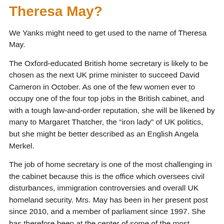Theresa May?
We Yanks might need to get used to the name of Theresa May.
The Oxford-educated British home secretary is likely to be chosen as the next UK prime minister to succeed David Cameron in October. As one of the few women ever to occupy one of the four top jobs in the British cabinet, and with a tough law-and-order reputation, she will be likened by many to Margaret Thatcher, the “iron lady” of UK politics, but she might be better described as an English Angela Merkel.
The job of home secretary is one of the most challenging in the cabinet because this is the office which oversees civil disturbances, immigration controversies and overall UK homeland security. Mrs. May has been in her present post since 2010, and a member of parliament since 1997. She has therefore been at the center of some of the most contentious issues in the UK, and it is a testament to her official performance and public image that she led by a